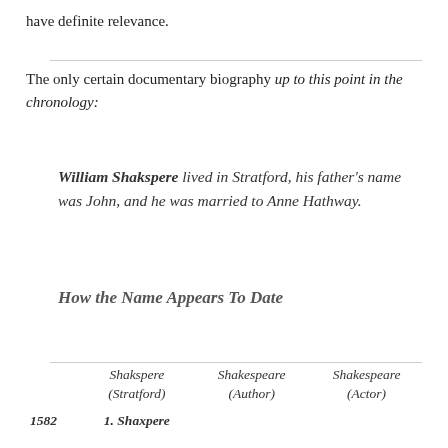have definite relevance.
The only certain documentary biography up to this point in the chronology:
William Shakspere lived in Stratford, his father's name was John, and he was married to Anne Hathway.
How the Name Appears To Date
|  | Shakspere (Stratford) | Shakespeare (Author) | Shakespeare (Actor) |
| --- | --- | --- | --- |
| 1582 | 1. Shaxpere |  |  |